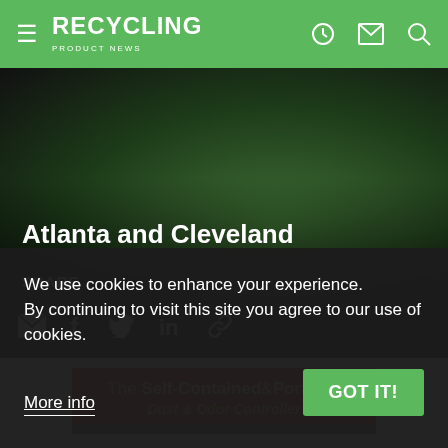RECYCLING PRODUCT NEWS
Atlanta and Cleveland
SHARE
[Figure (screenshot): Social share icons: email, Facebook, Twitter, LinkedIn, link]
[Figure (infographic): Advertisement banner: The Self-Contained & Portable Dust & Odor Controller]
We use cookies to enhance your experience. By continuing to visit this site you agree to our use of cookies.
More info
GOT IT!